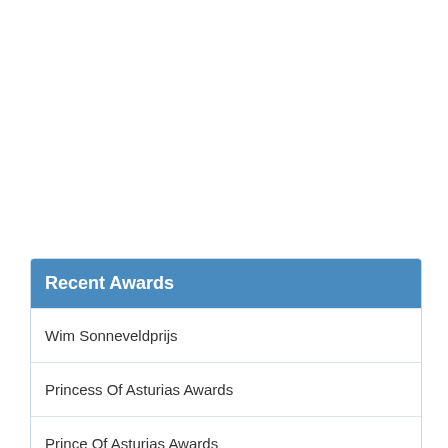| Recent Awards |
| --- |
| Wim Sonneveldprijs |
| Princess Of Asturias Awards |
| Prince Of Asturias Awards |
| Clio Awards |